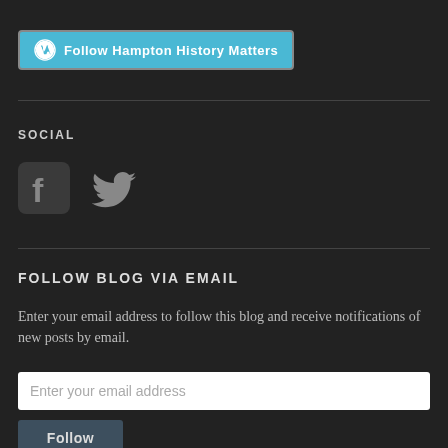[Figure (other): WordPress follow button with cyan background and WordPress logo icon reading 'Follow Hampton History Matters']
SOCIAL
[Figure (other): Facebook and Twitter social media icons in dark rounded square style]
FOLLOW BLOG VIA EMAIL
Enter your email address to follow this blog and receive notifications of new posts by email.
[Figure (other): Email address input field with placeholder text 'Enter your email address']
[Figure (other): Follow button in dark blue-grey color]